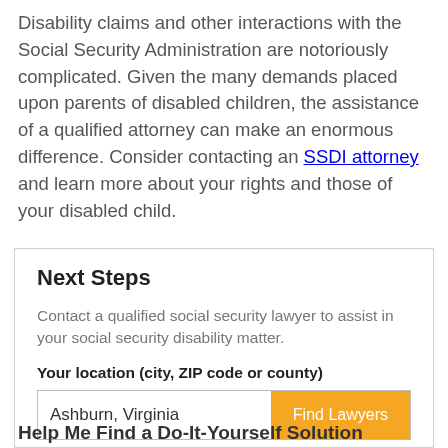Disability claims and other interactions with the Social Security Administration are notoriously complicated. Given the many demands placed upon parents of disabled children, the assistance of a qualified attorney can make an enormous difference. Consider contacting an SSDI attorney and learn more about your rights and those of your disabled child.
Next Steps
Contact a qualified social security lawyer to assist in your social security disability matter.
Your location (city, ZIP code or county)
Ashburn, Virginia
Help Me Find a Do-It-Yourself Solution